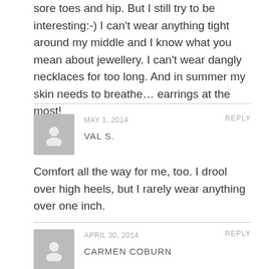sore toes and hip. But I still try to be interesting:-) I can't wear anything tight around my middle and I know what you mean about jewellery. I can't wear dangly necklaces for too long. And in summer my skin needs to breathe… earrings at the most!
MAY 1, 2014   REPLY
VAL S.
Comfort all the way for me, too. I drool over high heels, but I rarely wear anything over one inch.
APRIL 30, 2014   REPLY
CARMEN COBURN